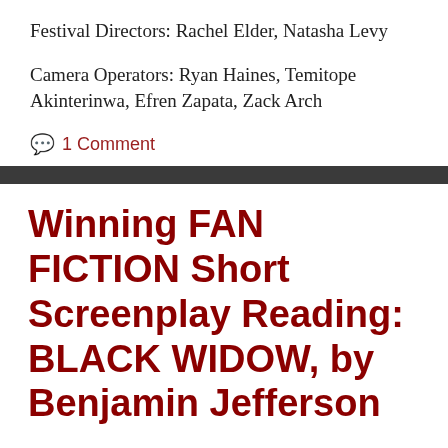Festival Directors: Rachel Elder, Natasha Levy
Camera Operators: Ryan Haines, Temitope Akinterinwa, Efren Zapata, Zack Arch
1 Comment
Winning FAN FICTION Short Screenplay Reading: BLACK WIDOW, by Benjamin Jefferson